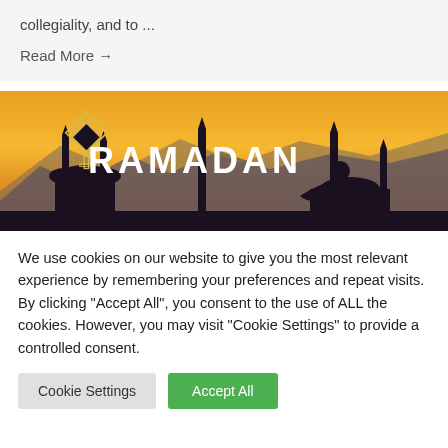collegiality, and to ...
Read More →
[Figure (illustration): Ramadan banner image showing mosque silhouettes and minarets against an orange/yellow sunset sky, with a kneeling figure in prayer silhouette on the right, decorative diamond geometric logo on the left, and the text 'RAMADAN' in large white bold letters in the center.]
We use cookies on our website to give you the most relevant experience by remembering your preferences and repeat visits. By clicking "Accept All", you consent to the use of ALL the cookies. However, you may visit "Cookie Settings" to provide a controlled consent.
Cookie Settings
Accept All